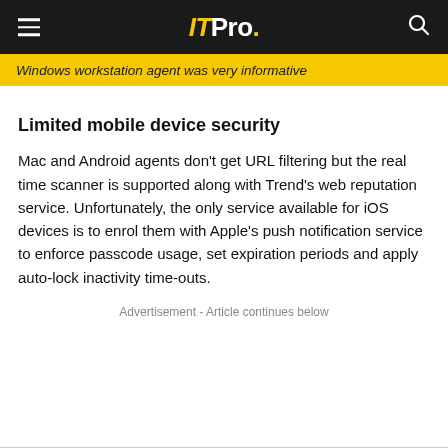ITPro.
Windows workstation agent was very informative
Limited mobile device security
Mac and Android agents don't get URL filtering but the real time scanner is supported along with Trend's web reputation service. Unfortunately, the only service available for iOS devices is to enrol them with Apple's push notification service to enforce passcode usage, set expiration periods and apply auto-lock inactivity time-outs.
Advertisement - Article continues below